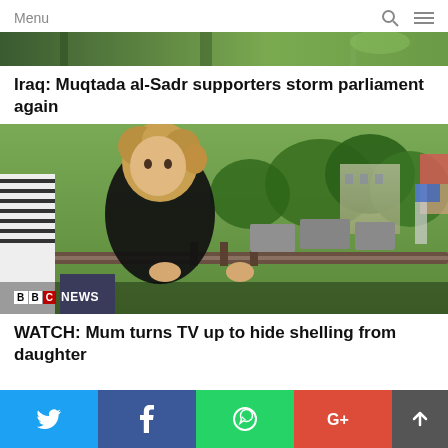Menu
[Figure (screenshot): Partial top image strip showing green/outdoor protest scene, partially cropped]
Iraq: Muqtada al-Sadr supporters storm parliament again
[Figure (photo): A young blonde child in a black t-shirt gripping a metal railing, with trees and buildings in background. BBC NEWS logo overlay in bottom left.]
WATCH: Mum turns TV up to hide shelling from daughter
[Figure (infographic): Social sharing bar at bottom: Twitter (blue), Facebook (dark blue), WhatsApp (green), Google+ (red), scroll up (grey)]